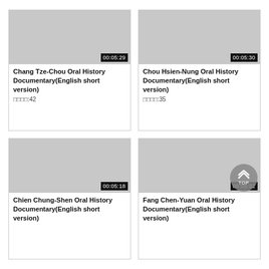[Figure (screenshot): Video thumbnail placeholder (gray rectangle) with duration overlay 00:05:29]
Chang Tze-Chou Oral History Documentary(English short version)
□□□□:42
[Figure (screenshot): Video thumbnail placeholder (gray rectangle) with duration overlay 00:05:30]
Chou Hsien-Nung Oral History Documentary(English short version)
□□□□:35
[Figure (screenshot): Video thumbnail placeholder (gray rectangle) with duration overlay 00:05:18]
Chien Chung-Shen Oral History Documentary(English short version)
[Figure (screenshot): Video thumbnail placeholder (gray rectangle) with duration overlay 00:05:22 and TOP button overlay]
Fang Chen-Yuan Oral History Documentary(English short version)